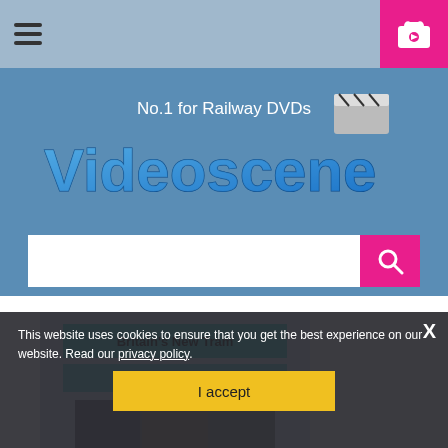Navigation bar with hamburger menu and shopping cart
[Figure (logo): Videoscene logo - No.1 for Railway DVDs with clapperboard graphic and stylized blue text]
Search input bar with pink search button
[Figure (photo): Britain's New Tram & Light Rail Systems DVD cover showing trams]
This website uses cookies to ensure that you get the best experience on our website. Read our privacy policy.
I accept